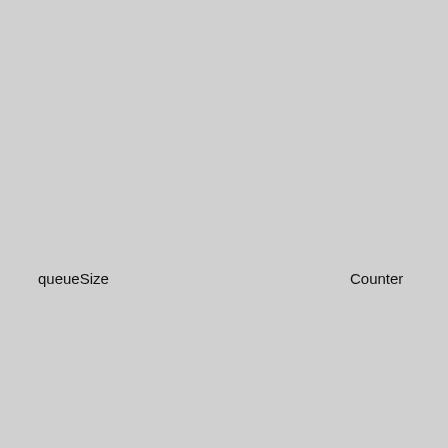disabling queuing. For values larger than one a first-in-first-out queue is to be used. The Server may limit the size in revisedQueueSize. In the case of a queue overflow, the Overflow bit (flag) in the InfoBits portion of the DataValue statusCode is set the new value. The following values have special meaning for event monitored items: Value Meaning 0 Server returns the default queue size for Event Notifications as revisedQueueSize for event monitored items. 1 the Server returns the minimum queue size the Server requires for Event Notifications as revisedQueueSize. MaxUInt the Server returns the maximum queue size that
| Name | Type | Description |
| --- | --- | --- |
| queueSize | Counter | disabling queuing. For values larger than one a first-in-first-out queue is to be used. The Server may limit the size in revisedQueueSize. In the case of a queue overflow, the Overflow bit (flag) in the InfoBits portion of the DataValue statusCode is set the new value. The following values have special meaning for event monitored items: Value Meaning 0 Server returns the default queue size for Event Notifications as revisedQueueSize for event monitored items. 1 the Server returns the minimum queue size the Server requires for Event Notifications as revisedQueueSize. MaxUInt the Server returns the maximum queue size that |